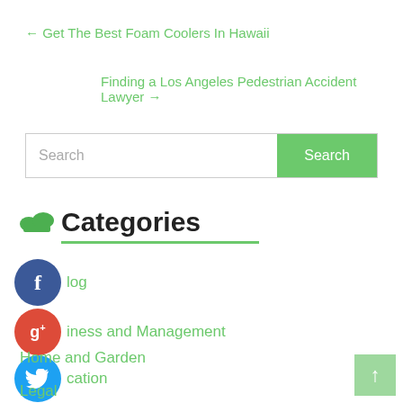← Get The Best Foam Coolers In Hawaii
Finding a Los Angeles Pedestrian Accident Lawyer →
[Figure (other): Search bar with text input and green Search button]
Categories
Blog
Business and Management
Education
Health and Fitness
Home and Garden
Legal